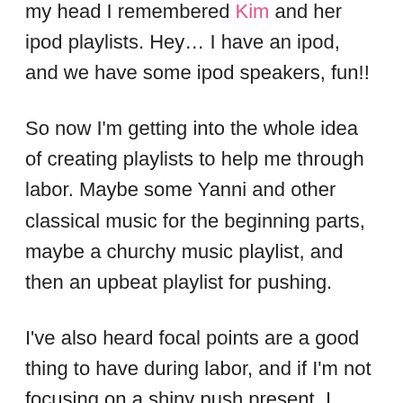...once I got the idea of bathrooms out of my head I remembered Kim and her ipod playlists. Hey… I have an ipod, and we have some ipod speakers, fun!!
So now I'm getting into the whole idea of creating playlists to help me through labor. Maybe some Yanni and other classical music for the beginning parts, maybe a churchy music playlist, and then an upbeat playlist for pushing.
I've also heard focal points are a good thing to have during labor, and if I'm not focusing on a shiny push present, I have another option.